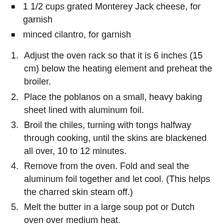1 1/2 cups grated Monterey Jack cheese, for garnish
minced cilantro, for garnish
1. Adjust the oven rack so that it is 6 inches (15 cm) below the heating element and preheat the broiler.
2. Place the poblanos on a small, heavy baking sheet lined with aluminum foil.
3. Broil the chiles, turning with tongs halfway through cooking, until the skins are blackened all over, 10 to 12 minutes.
4. Remove from the oven. Fold and seal the aluminum foil together and let cool. (This helps the charred skin steam off.)
5. Melt the butter in a large soup pot or Dutch oven over medium heat.
6. Add the onion and celery and sauté until the onion is